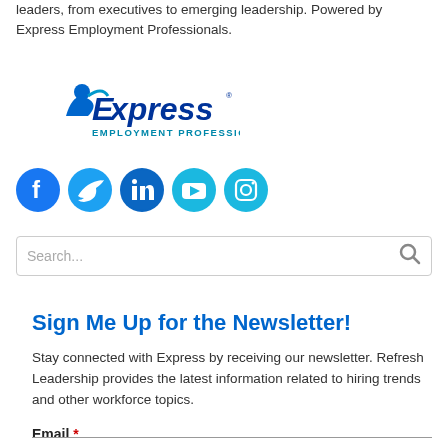leaders, from executives to emerging leadership. Powered by Express Employment Professionals.
[Figure (logo): Express Employment Professionals logo - blue text with stylized X and figure]
[Figure (infographic): Five social media icons: Facebook, Twitter, LinkedIn, YouTube, Instagram - all in blue circles]
[Figure (screenshot): Search bar with placeholder text 'Search...' and a search icon on the right]
Sign Me Up for the Newsletter!
Stay connected with Express by receiving our newsletter. Refresh Leadership provides the latest information related to hiring trends and other workforce topics.
Email *